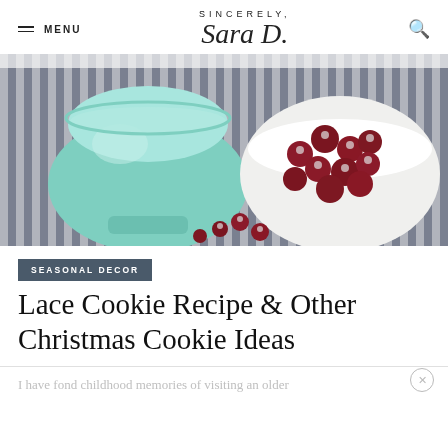SINCERELY, Sara D.
[Figure (photo): A mint/teal ceramic sugar bowl or gravy boat on a striped cloth next to a white bowl filled with sugared cranberries, with scattered cranberries on the cloth.]
SEASONAL DECOR
Lace Cookie Recipe & Other Christmas Cookie Ideas
I have fond childhood memories of visiting an older